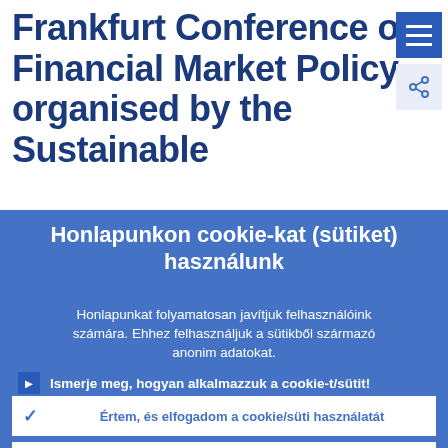Frankfurt Conference on Financial Market Policy organised by the Sustainable
[Figure (screenshot): Blue hamburger menu icon button in top right corner]
Honlapunkon cookie-kat (sütiket) használunk
Honlapunkat folyamatosan javítjuk felhasználóink számára. Ehhez felhasználjuk a sütikből származó anonim adatokat.
Ismerje meg, hogyan alkalmazzuk a cookie-t/sütit!
Értem, és elfogadom a cookie/süti használatát
Visszautasítom a cookie/süti használatát